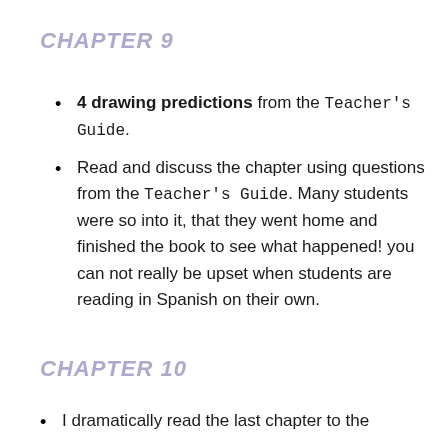CHAPTER 9
4 drawing predictions from the Teacher's Guide.
Read and discuss the chapter using questions from the Teacher's Guide. Many students were so into it, that they went home and finished the book to see what happened! you can not really be upset when students are reading in Spanish on their own.
CHAPTER 10
I dramatically read the last chapter to the